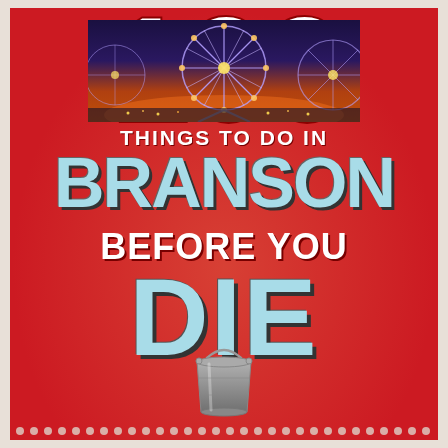[Figure (illustration): Book cover: '100 Things to Do in Branson Before You Die'. Bright red background with radial burst effect, large white '100' at top with a photo strip of a Ferris wheel at night inside the numerals, bold text 'THINGS TO DO IN BRANSON BEFORE YOU DIE' in white and light blue, a metal bucket at bottom center, dotted border at bottom.]